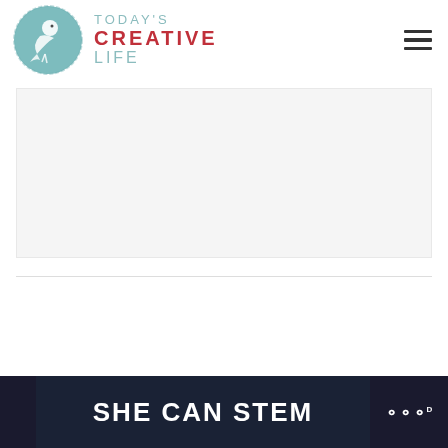TODAY'S CREATIVE LIFE
[Figure (illustration): Light gray advertisement placeholder banner]
SHE CAN STEM